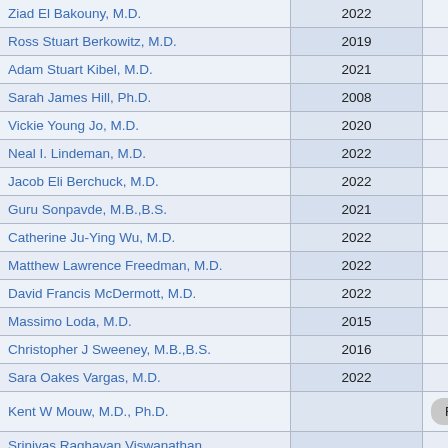| Name | Year |  |
| --- | --- | --- |
| Ziad El Bakouny, M.D. | 2022 |  |
| Ross Stuart Berkowitz, M.D. | 2019 |  |
| Adam Stuart Kibel, M.D. | 2021 |  |
| Sarah James Hill, Ph.D. | 2008 |  |
| Vickie Young Jo, M.D. | 2020 |  |
| Neal I. Lindeman, M.D. | 2022 |  |
| Jacob Eli Berchuck, M.D. | 2022 |  |
| Guru Sonpavde, M.B.,B.S. | 2021 |  |
| Catherine Ju-Ying Wu, M.D. | 2022 |  |
| Matthew Lawrence Freedman, M.D. | 2022 |  |
| David Francis McDermott, M.D. | 2022 |  |
| Massimo Loda, M.D. | 2015 |  |
| Christopher J Sweeney, M.B.,B.S. | 2016 |  |
| Sara Oakes Vargas, M.D. | 2022 |  |
| Kent W Mouw, M.D., Ph.D. |  | Return to Top |
| Srinivas Raghavan Viswanathan, M.D., Ph.D. | 2022 |  |